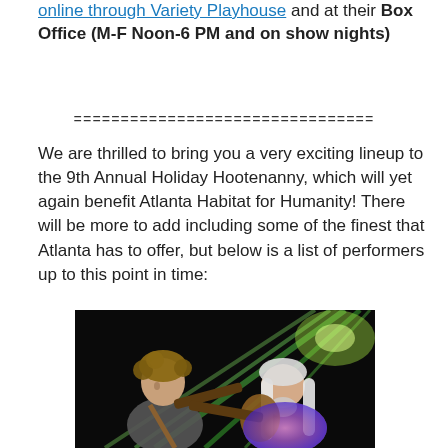online through Variety Playhouse and at their Box Office (M-F Noon-6 PM and on show nights)
================================
We are thrilled to bring you a very exciting lineup to the 9th Annual Holiday Hootenanny, which will yet again benefit Atlanta Habitat for Humanity! There will be more to add including some of the finest that Atlanta has to offer, but below is a list of performers up to this point in time:
[Figure (photo): Two musicians on stage performing with green stage lights in the background. One has curly hair and the other has long white hair, both playing guitars.]